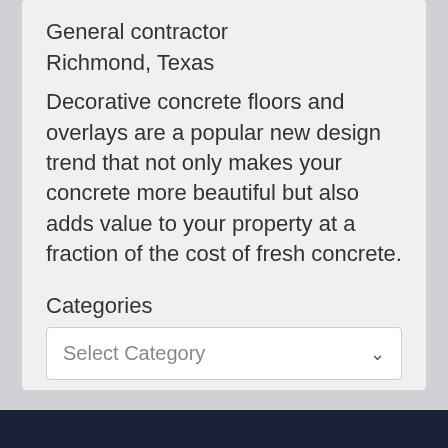General contractor
Richmond, Texas
Decorative concrete floors and overlays are a popular new design trend that not only makes your concrete more beautiful but also adds value to your property at a fraction of the cost of fresh concrete.
Categories
Select Category